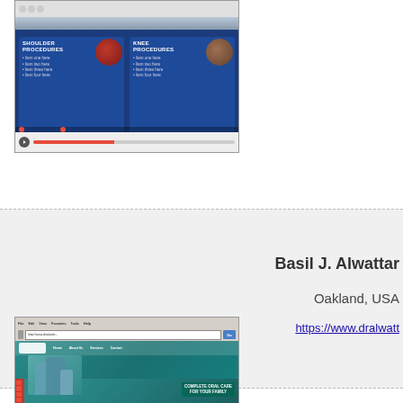[Figure (screenshot): Screenshot of a medical website showing shoulder procedures and knee procedures sections with anatomical images on a dark blue background, with a video player bar at the bottom]
[Figure (infographic): Gray section card with a 'Top' navigation icon with upward arrow, and text showing 'Basil J. Alwattar', 'Oakland, USA', and a partial URL 'https://www.dralwatt...']
[Figure (screenshot): Screenshot of a dental practice website with teal/green background, showing a family photo and 'Complete Oral Care for Your Family' tagline, with a Windows XP-era browser interface]